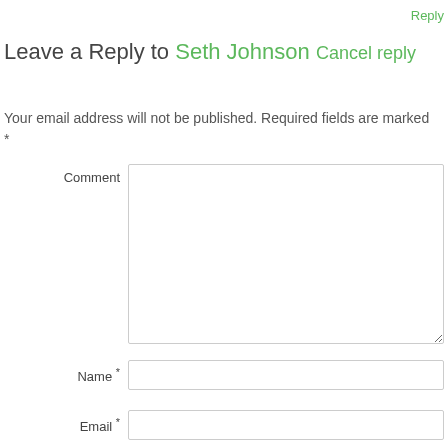Reply
Leave a Reply to Seth Johnson Cancel reply
Your email address will not be published. Required fields are marked *
Comment
Name *
Email *